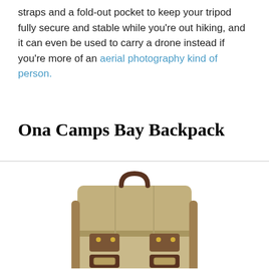straps and a fold-out pocket to keep your tripod fully secure and stable while you're out hiking, and it can even be used to carry a drone instead if you're more of an aerial photography kind of person.
Ona Camps Bay Backpack
[Figure (photo): Photo of the Ona Camps Bay Backpack — a tan/khaki waxed canvas backpack with dark brown leather straps, buckles, and a top carry handle, shown from the front.]